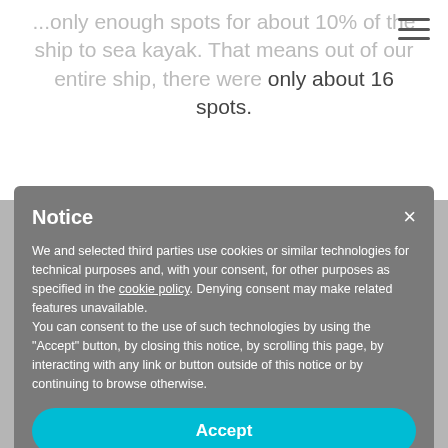...only enough spots for about 10% of the ship to sea kayak. That means out of our entire ship, there were only about 16 spots.
[Figure (screenshot): Cookie consent notice modal overlay on a webpage. Contains title 'Notice', body text about cookies, a cyan 'Accept' button, and a dark 'Learn more and customize' button, with a close (×) button.]